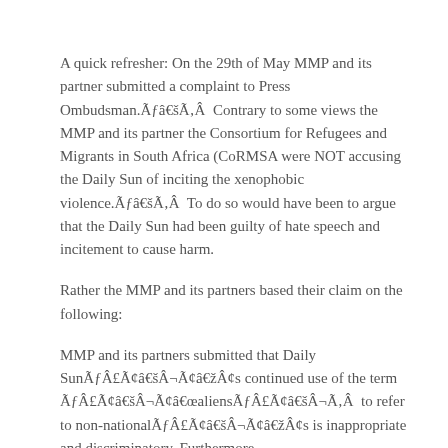A quick refresher: On the 29th of May MMP and its partner submitted a complaint to Press Ombudsman.ÃƒÂ€šÃ‚Â  Contrary to some views the MMP and its partner the Consortium for Refugees and Migrants in South Africa (CoRMSA were NOT accusing the Daily Sun of inciting the xenophobic violence.ÃƒÂ€šÃ‚Â  To do so would have been to argue that the Daily Sun had been guilty of hate speech and incitement to cause harm.
Rather the MMP and its partners based their claim on the following:
MMP and its partners submitted that Daily SunÃƒÂÃ¢â€šÂ¬Ã¢â€žÂ¢s continued use of the term ÃƒÂÃ¢â€šÂ¬Ã¢â€œaliensÃƒÂÃ¢â€šÂ¬Ã‚Â  to refer to non-nationalÃƒÂÃ¢â€šÂ¬Ã¢â€žÂ¢s is inappropriate and discriminatory. Furthermore,